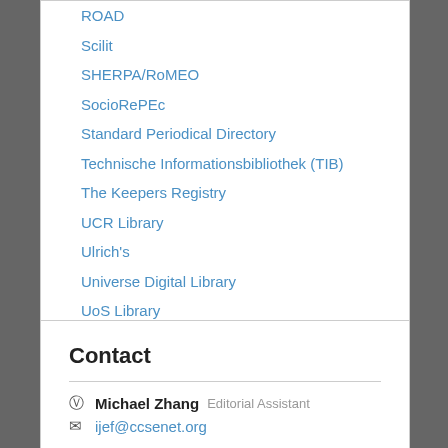ROAD
Scilit
SHERPA/RoMEO
SocioRePEc
Standard Periodical Directory
Technische Informationsbibliothek (TIB)
The Keepers Registry
UCR Library
Ulrich's
Universe Digital Library
UoS Library
ZBW-German National Library of Economics
Zeitschriften Daten Bank (ZDB)
Contact
Michael Zhang  Editorial Assistant
ijef@ccsenet.org